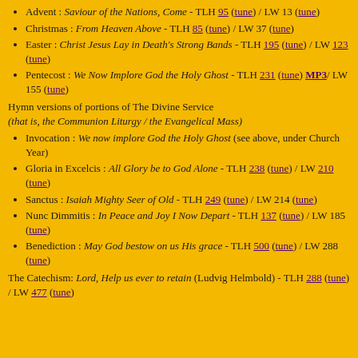Advent : Saviour of the Nations, Come - TLH 95 (tune) / LW 13 (tune)
Christmas : From Heaven Above - TLH 85 (tune) / LW 37 (tune)
Easter : Christ Jesus Lay in Death's Strong Bands - TLH 195 (tune) / LW 123 (tune)
Pentecost : We Now Implore God the Holy Ghost - TLH 231 (tune) MP3 / LW 155 (tune)
Hymn versions of portions of The Divine Service (that is, the Communion Liturgy / the Evangelical Mass)
Invocation : We now implore God the Holy Ghost (see above, under Church Year)
Gloria in Excelcis : All Glory be to God Alone - TLH 238 (tune) / LW 210 (tune)
Sanctus : Isaiah Mighty Seer of Old - TLH 249 (tune) / LW 214 (tune)
Nunc Dimmitis : In Peace and Joy I Now Depart - TLH 137 (tune) / LW 185 (tune)
Benediction : May God bestow on us His grace - TLH 500 (tune) / LW 288 (tune)
The Catechism: Lord, Help us ever to retain (Ludvig Helmbold) - TLH 288 (tune) / LW 477 (tune)